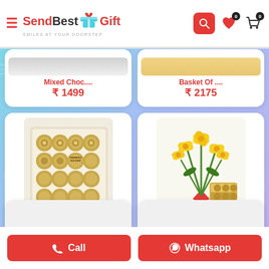SendBestGift - Smiles at your doorstep
[Figure (screenshot): Partial product card top row showing Mixed Choc.... ₹ 1499 and Basket Of .... ₹ 2175]
Mixed Choc....
₹ 1499
Basket Of ....
₹ 2175
[Figure (photo): Product image: 24 piece Ferrero Rocher chocolate box arranged in grid]
24 Pcs Fer....
₹ 1499
[Figure (photo): Product image: Yellow lily flower bouquet with Ferrero Rocher box]
Yellow Lil....
₹ 2099
Call | Whatsapp